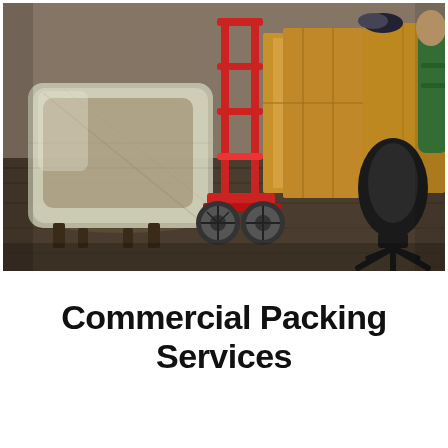[Figure (photo): Indoor moving scene showing furniture wrapped in plastic wrap on the left (a chair/armchair), a red hand truck/dolly in the center, large cardboard boxes in the background on the right, a dark modern chair visible on the far right, and a person in a green jacket partially visible at the far right edge. The floor appears to be dark carpet/wood.]
Commercial Packing Services